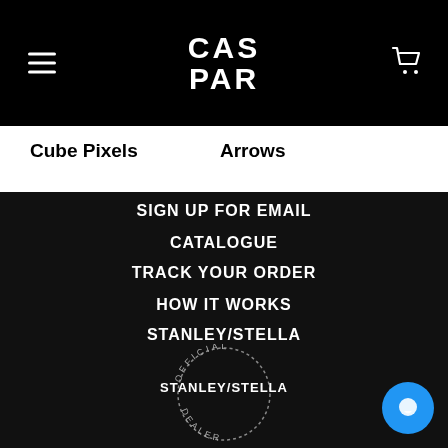CAS PAR
Cube Pixels
Arrows
SIGN UP FOR EMAIL
CATALOGUE
TRACK YOUR ORDER
HOW IT WORKS
STANLEY/STELLA
[Figure (logo): Official Stanley/Stella Dealer badge with circular text and bold brand name]